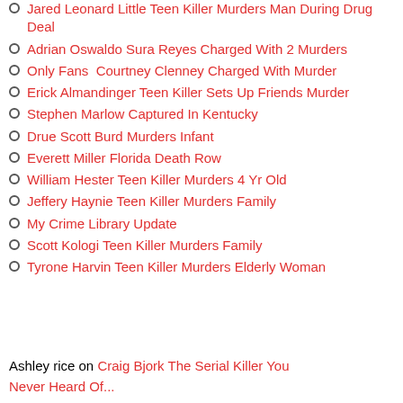Jared Leonard Little Teen Killer Murders Man During Drug Deal
Adrian Oswaldo Sura Reyes Charged With 2 Murders
Only Fans  Courtney Clenney Charged With Murder
Erick Almandinger Teen Killer Sets Up Friends Murder
Stephen Marlow Captured In Kentucky
Drue Scott Burd Murders Infant
Everett Miller Florida Death Row
William Hester Teen Killer Murders 4 Yr Old
Jeffery Haynie Teen Killer Murders Family
My Crime Library Update
Scott Kologi Teen Killer Murders Family
Tyrone Harvin Teen Killer Murders Elderly Woman
Ashley rice on Craig Bjork The Serial Killer You...